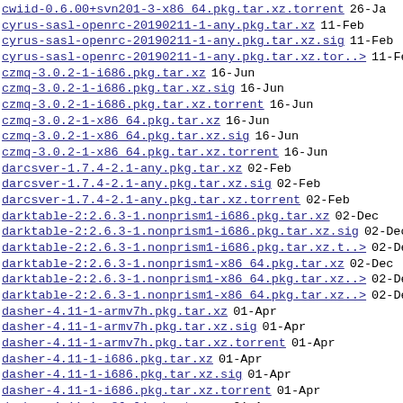cwiid-0.6.00+svn201-3-x86_64.pkg.tar.xz.torrent  26-Ja
cyrus-sasl-openrc-20190211-1-any.pkg.tar.xz  11-Feb
cyrus-sasl-openrc-20190211-1-any.pkg.tar.xz.sig  11-Feb
cyrus-sasl-openrc-20190211-1-any.pkg.tar.xz.tor..>  11-Feb
czmq-3.0.2-1-i686.pkg.tar.xz  16-Jun
czmq-3.0.2-1-i686.pkg.tar.xz.sig  16-Jun
czmq-3.0.2-1-i686.pkg.tar.xz.torrent  16-Jun
czmq-3.0.2-1-x86_64.pkg.tar.xz  16-Jun
czmq-3.0.2-1-x86_64.pkg.tar.xz.sig  16-Jun
czmq-3.0.2-1-x86_64.pkg.tar.xz.torrent  16-Jun
darcsver-1.7.4-2.1-any.pkg.tar.xz  02-Feb
darcsver-1.7.4-2.1-any.pkg.tar.xz.sig  02-Feb
darcsver-1.7.4-2.1-any.pkg.tar.xz.torrent  02-Feb
darktable-2:2.6.3-1.nonprism1-i686.pkg.tar.xz  02-Dec
darktable-2:2.6.3-1.nonprism1-i686.pkg.tar.xz.sig  02-Dec
darktable-2:2.6.3-1.nonprism1-i686.pkg.tar.xz.t..>  02-Dec
darktable-2:2.6.3-1.nonprism1-x86_64.pkg.tar.xz  02-Dec
darktable-2:2.6.3-1.nonprism1-x86_64.pkg.tar.xz..>  02-Dec
darktable-2:2.6.3-1.nonprism1-x86_64.pkg.tar.xz..>  02-Dec
dasher-4.11-1-armv7h.pkg.tar.xz  01-Apr
dasher-4.11-1-armv7h.pkg.tar.xz.sig  01-Apr
dasher-4.11-1-armv7h.pkg.tar.xz.torrent  01-Apr
dasher-4.11-1-i686.pkg.tar.xz  01-Apr
dasher-4.11-1-i686.pkg.tar.xz.sig  01-Apr
dasher-4.11-1-i686.pkg.tar.xz.torrent  01-Apr
dasher-4.11-1-x86_64.pkg.tar.xz  01-Apr
dasher-4.11-1-x86_64.pkg.tar.xz.sig  01-Apr
dasher-4.11-1-x86_64.pkg.tar.xz.torrent  01-Apr
dbscripts-20181010-1-any.pkg.tar.xz  06-Nov
dbscripts-20181010-1-any.pkg.tar.xz.sig  06-Nov